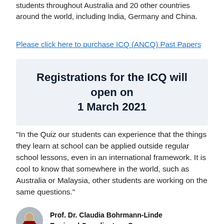students throughout Australia and 20 other countries around the world, including India, Germany and China.
Please click here to purchase ICQ (ANCQ) Past Papers
Registrations for the ICQ will open on 1 March 2021
"In the Quiz our students can experience that the things they learn at school can be applied outside regular school lessons, even in an international framework. It is cool to know that somewhere in the world, such as Australia or Malaysia, other students are working on the same questions."
Prof. Dr. Claudia Bohrmann-Linde
Regional Coordinator - Germany
[Figure (photo): Circular profile photo of Prof. Dr. Claudia Bohrmann-Linde]